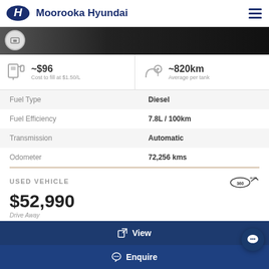Moorooka Hyundai
[Figure (photo): Partial view of a vehicle (wheel area) against a dark background]
~$96 Cost to fill at $1.50/L
~820km Average per tank
|  |  |
| --- | --- |
| Fuel Type | Diesel |
| Fuel Efficiency | 7.8L / 100km |
| Transmission | Automatic |
| Odometer | 72,256 kms |
USED VEHICLE
$52,990
Drive Away
View
Enquire